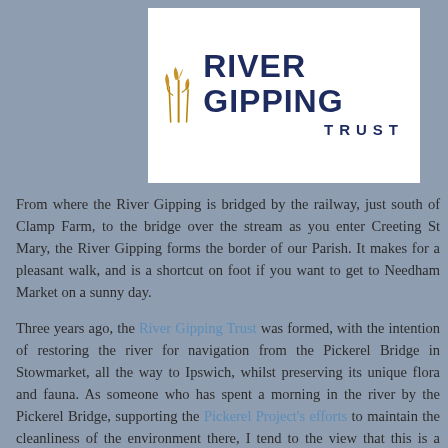[Figure (logo): River Gipping Trust logo: stylized golden reed/grass illustration on the left, bold dark navy text reading 'RIVER GIPPING' on top line and 'TRUST' on second line, all on a white background.]
From where the River Gipping is bridged by the railway, just south of Clamp Farm, to the bridge over the stream as you enter Creeting St Mary, the River Gipping forms the border of our Parish. It makes for a pleasant walk, and is a shortcut on foot if you want to get to Needham Market on a sunny day.
Three years ago, the River Gipping Trust was formed, with the intention of restoring the river for navigation from the Pickerel Bridge in Stowmarket, all the way to Ipswich, whilst preserving its unique flora and fauna. As someone who has spent a morning in the river by the Pickerel Bridge, supporting the Pickerel Project's efforts to maintain the cleanliness of the environment there, I tend to the view that this is a good thing, worthy of support, so Ros and I have joined (our cheque is in the post).
It is, I admit, hard to credit that the Normans brought Caen stone up the Gipping, and then the River Rat, on its way to build the